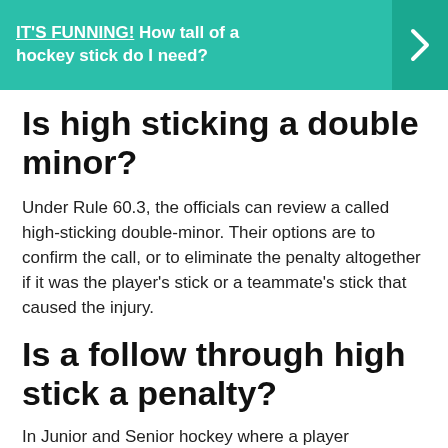IT'S FUNNING! How tall of a hockey stick do I need?
Is high sticking a double minor?
Under Rule 60.3, the officials can review a called high-sticking double-minor. Their options are to confirm the call, or to eliminate the penalty altogether if it was the player's stick or a teammate's stick that caused the injury.
Is a follow through high stick a penalty?
In Junior and Senior hockey where a player